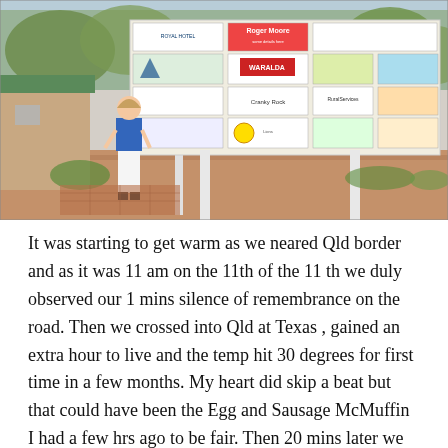[Figure (photo): A woman in a blue top and white pants stands in front of a large community notice board covered with many signs and advertisements, in what appears to be a rural Australian town. Trees and a brick building are visible in the background.]
It was starting to get warm as we neared Qld border and as it was 11 am on the 11th of the 11 th we duly observed our 1 mins silence of remembrance on the road. Then we crossed into Qld at Texas , gained an extra hour to live and the temp hit 30 degrees for first time in a few months. My heart did skip a beat but that could have been the Egg and Sausage McMuffin I had a few hrs ago to be fair. Then 20 mins later we observed another minutes silence at 11